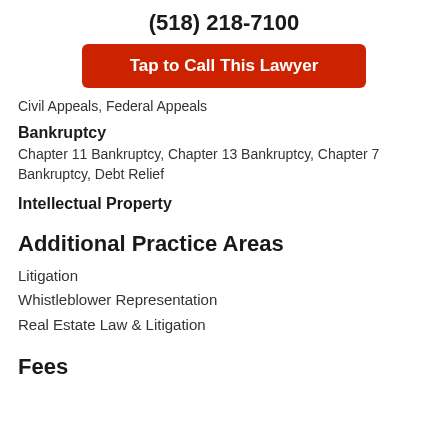(518) 218-7100
Tap to Call This Lawyer
Civil Appeals, Federal Appeals
Bankruptcy
Chapter 11 Bankruptcy, Chapter 13 Bankruptcy, Chapter 7 Bankruptcy, Debt Relief
Intellectual Property
Additional Practice Areas
Litigation
Whistleblower Representation
Real Estate Law & Litigation
Fees